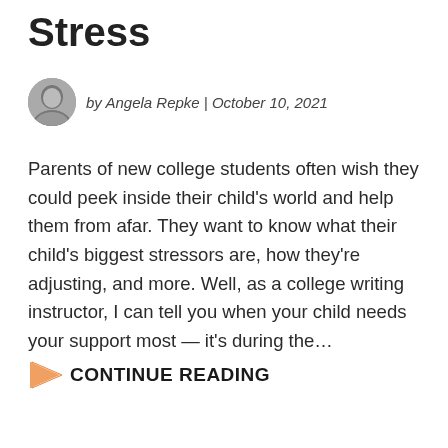Stress
by Angela Repke | October 10, 2021
Parents of new college students often wish they could peek inside their child's world and help them from afar. They want to know what their child's biggest stressors are, how they're adjusting, and more. Well, as a college writing instructor, I can tell you when your child needs your support most — it's during the…
CONTINUE READING